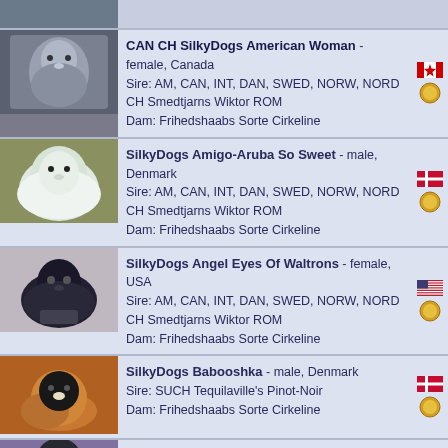CAN CH SilkyDogs American Woman - female, Canada
Sire: AM, CAN, INT, DAN, SWED, NORW, NORD CH Smedtjarns Wiktor ROM
Dam: Frihedshaabs Sorte Cirkeline
SilkyDogs Amigo-Aruba So Sweet - male, Denmark
Sire: AM, CAN, INT, DAN, SWED, NORW, NORD CH Smedtjarns Wiktor ROM
Dam: Frihedshaabs Sorte Cirkeline
SilkyDogs Angel Eyes Of Waltrons - female, USA
Sire: AM, CAN, INT, DAN, SWED, NORW, NORD CH Smedtjarns Wiktor ROM
Dam: Frihedshaabs Sorte Cirkeline
SilkyDogs Babooshka - male, Denmark
Sire: SUCH Tequilaville's Pinot-Noir
Dam: Frihedshaabs Sorte Cirkeline
SilkyDogs Black Velvet - female, Denmark